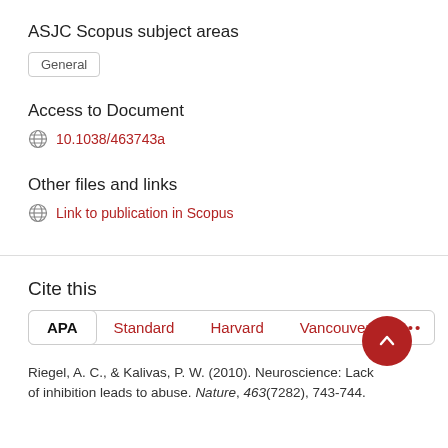ASJC Scopus subject areas
General
Access to Document
10.1038/463743a
Other files and links
Link to publication in Scopus
Cite this
APA  Standard  Harvard  Vancouver  ...
Riegel, A. C., & Kalivas, P. W. (2010). Neuroscience: Lack of inhibition leads to abuse. Nature, 463(7282), 743-744.